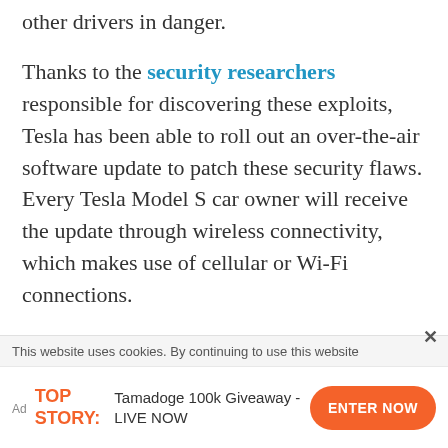other drivers in danger.
Thanks to the security researchers responsible for discovering these exploits, Tesla has been able to roll out an over-the-air software update to patch these security flaws. Every Tesla Model S car owner will receive the update through wireless connectivity, which makes use of cellular or Wi-Fi connections.
With multiple manufacturers becoming aware of these security flaws, we can only hope that companies will put a stronger focus on vulnerability
This website uses cookies. By continuing to use this website
Ad TOP STORY: Tamadoge 100k Giveaway - LIVE NOW ENTER NOW